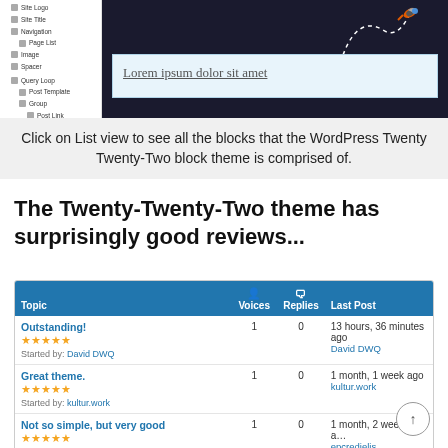[Figure (screenshot): WordPress block editor screenshot showing the site editor sidebar with block structure tree on the left (Site Logo, Site Title, Navigation, Page List, Image, Spacer, Query Loop, Post Template, Group, Post Link, Post featured image) and a dark-themed preview on the right with a bird flying along a dashed path, and a text block showing 'Lorem ipsum dolor sit amet'.]
Click on List view to see all the blocks that the WordPress Twenty Twenty-Two block theme is comprised of.
The Twenty-Twenty-Two theme has surprisingly good reviews...
| Topic | Voices | Replies | Last Post |
| --- | --- | --- | --- |
| Outstanding!
★★★★★
Started by: David DWQ | 1 | 0 | 13 hours, 36 minutes ago
David DWQ |
| Great theme.
★★★★★
Started by: kultur.work | 1 | 0 | 1 month, 1 week ago
kultur.work |
| Not so simple, but very good
★★★★★
Started by: epcredielis | 1 | 0 | 1 month, 2 weeks ago
epcredielis |
| Great for SEO ;)
★★★★★ | 1 | 0 | 2 months ago |